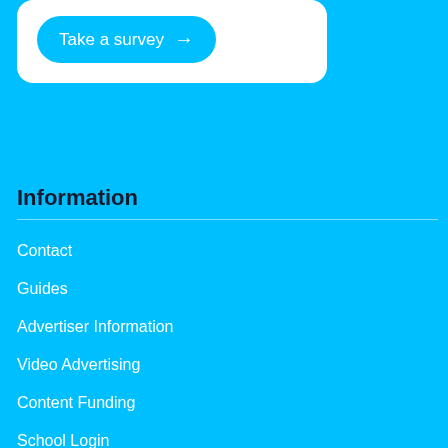[Figure (other): White rounded card with a 'Take a survey' button with right arrow on cyan background]
Information
Contact
Guides
Advertiser Information
Video Advertising
Content Funding
School Login
Edit your school's information
Franchising WhichSchoolAdvisor.com